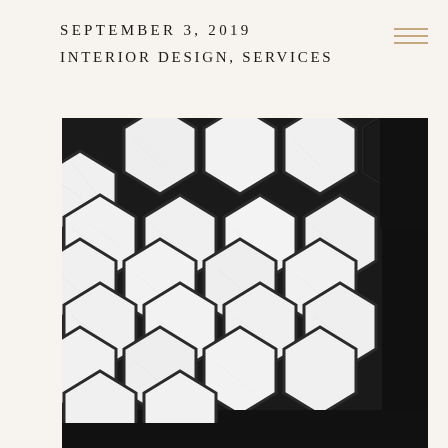SEPTEMBER 3, 2019
INTERIOR DESIGN, SERVICES
[Figure (photo): Close-up photograph of white marble hexagonal tiles with dark grout, arranged in a honeycomb pattern on a black background/border.]